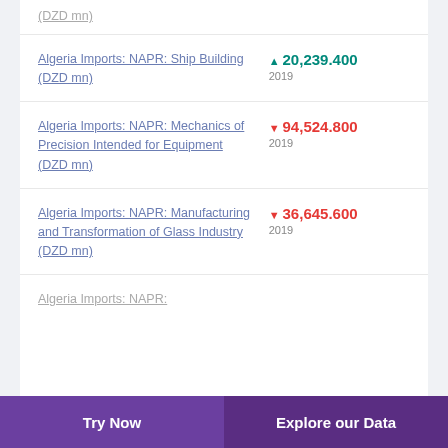(DZD mn)
Algeria Imports: NAPR: Ship Building (DZD mn) — 20,239.400 — 2019
Algeria Imports: NAPR: Mechanics of Precision Intended for Equipment (DZD mn) — 94,524.800 — 2019
Algeria Imports: NAPR: Manufacturing and Transformation of Glass Industry (DZD mn) — 36,645.600 — 2019
Algeria Imports: NAPR: (truncated)
Try Now | Explore our Data